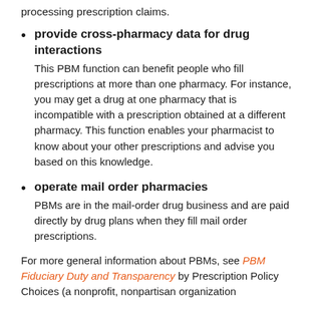processing prescription claims.
provide cross-pharmacy data for drug interactions
This PBM function can benefit people who fill prescriptions at more than one pharmacy. For instance, you may get a drug at one pharmacy that is incompatible with a prescription obtained at a different pharmacy. This function enables your pharmacist to know about your other prescriptions and advise you based on this knowledge.
operate mail order pharmacies
PBMs are in the mail-order drug business and are paid directly by drug plans when they fill mail order prescriptions.
For more general information about PBMs, see PBM Fiduciary Duty and Transparency by Prescription Policy Choices (a nonprofit, nonpartisan organization...